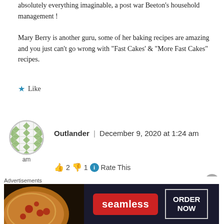absolutely everything imaginable, a post war Beeton’s household management !

Mary Berry is another guru, some of her baking recipes are amazing and you just can’t go wrong with “Fast Cakes’ & “More Fast Cakes” recipes.
★ Like
[Figure (illustration): Circular avatar with green diamond/lattice pattern on white background]
am
Outlander | December 9, 2020 at 1:24 am
👍 2 👎 1 ⓘ Rate This
I have experimented with this recipe and find
Advertisements
[Figure (other): Seamless food delivery advertisement banner with pizza image, Seamless logo in red, and ORDER NOW button]